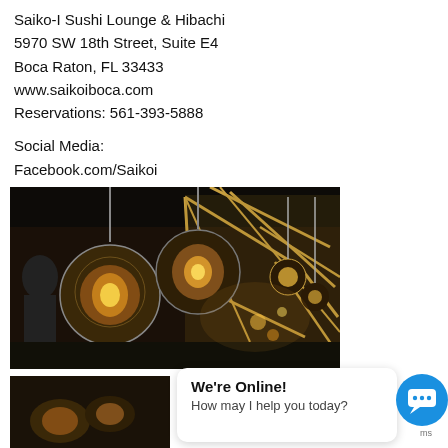Saiko-I Sushi Lounge & Hibachi
5970 SW 18th Street, Suite E4
Boca Raton, FL 33433
www.saikoiboca.com
Reservations: 561-393-5888
Social Media:
Facebook.com/Saikoi
Instagram – @saikoiboca #saikoiboca
[Figure (photo): Interior photo of restaurant showing hanging globe pendant lights with Edison bulbs against a geometric gold frame mirror wall in a dark ambient setting]
[Figure (photo): Partial bottom photo of restaurant interior]
We're Online!
How may I help you today?